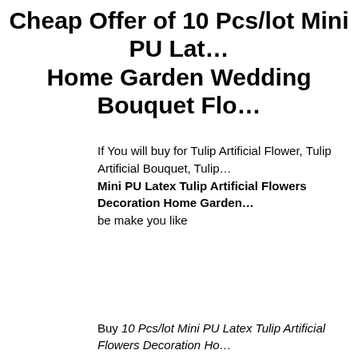Cheap Offer of 10 Pcs/lot Mini PU Latex Home Garden Wedding Bouquet Flo…
If You will buy for Tulip Artificial Flower, Tulip Artificial Bouquet, Tulip… Mini PU Latex Tulip Artificial Flowers Decoration Home Garden… be make you like
Buy 10 Pcs/lot Mini PU Latex Tulip Artificial Flowers Decoration Ho…